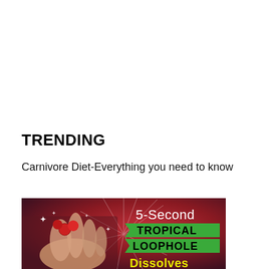TRENDING
Carnivore Diet-Everything you need to know
[Figure (photo): Promotional image for '5-Second Tropical Loophole Dissolves...' with a hand holding red berries/cherries against a dark red/maroon gradient background with sparkles and sunburst rays. Green chevron banners display 'TROPICAL' and 'LOOPHOLE' in bold black text. '5-Second' appears in white text above. Bottom shows partial yellow text 'Dissolves'.]